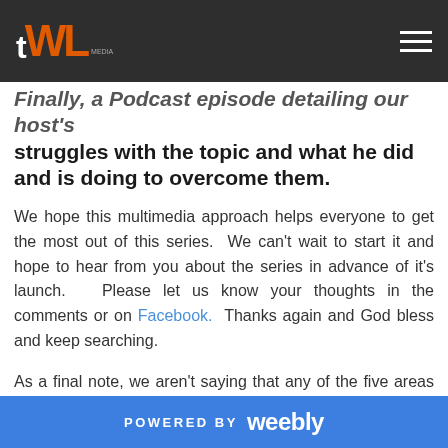TWL logo and navigation
Finally, a Podcast episode detailing our host's struggles with the topic and what he did and is doing to overcome them.
We hope this multimedia approach helps everyone to get the most out of this series.  We can't wait to start it and hope to hear from you about the series in advance of it's launch.   Please let us know your thoughts in the comments or on Facebook.  Thanks again and God bless and keep searching.
As a final note, we aren't saying that any of the five areas we are covering are bad.  We are simply saying that they are in need of examination  and calibration in our lives.  We hope to shed some light on these areas and help others get the most out of them in their lives.
POWERED BY weebly